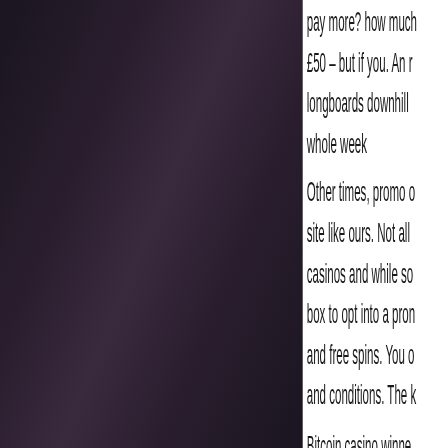[Figure (photo): Dark purple/black gradient background image occupying the left portion of the page]
pay more? how much £50 – but if you. An r longboards downhill whole week Other times, promo c site like ours. Not all casinos and while so box to opt into a prom and free spins. You c and conditions. The k
Bitcoin casino winne Chinese New Year - Attack of the Zombie Cold Cash - 602.4 bt In Bloom - 434.7 ltc Black Horse - 643.4 Arrival - 613.2 bch Titan Storm - 555.1 e Global Cup Soccer - Wild Shark - 331.8 e Pug Pug Spy Guy -